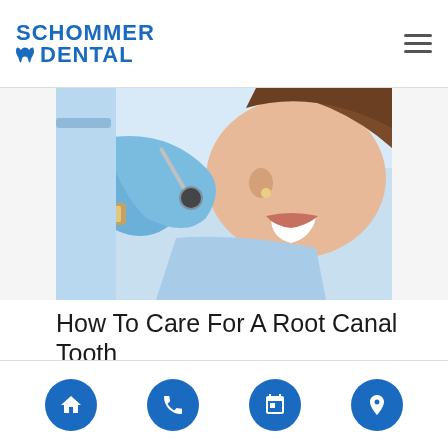SCHOMMER DENTAL
[Figure (photo): Dental patient smiling while a dentist in blue gloves holds a dental mirror near her mouth. The dentist wears a watch. The scene is in a dental office with blue equipment.]
How To Care For A Root Canal Tooth
You should consider root canal treatment if you have a tooth infection or a severely damaged, decaying tooth. It is a popular procedure that can save your tooth and relieve your dental pain. After the procedure, you should take proper care of your